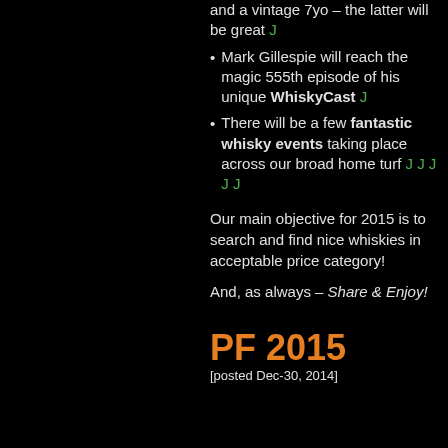and a vintage 7yo – the latter will be great J
Mark Gillespie will reach the magic 555th episode of his unique WhiskyCast J
There will be a few fantastic whisky events taking place across our broad home turf J J J J J
Our main objective for 2015 is to search and find nice whiskies in acceptable price category!
And, as always – Share & Enjoy!
PF 2015
[posted Dec-30, 2014]